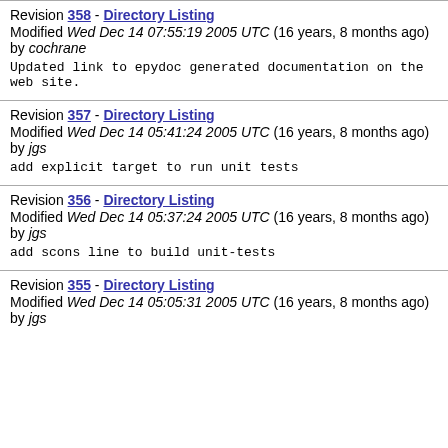Revision 358 - Directory Listing
Modified Wed Dec 14 07:55:19 2005 UTC (16 years, 8 months ago) by cochrane
Updated link to epydoc generated documentation on the web site.
Revision 357 - Directory Listing
Modified Wed Dec 14 05:41:24 2005 UTC (16 years, 8 months ago) by jgs
add explicit target to run unit tests
Revision 356 - Directory Listing
Modified Wed Dec 14 05:37:24 2005 UTC (16 years, 8 months ago) by jgs
add scons line to build unit-tests
Revision 355 - Directory Listing
Modified Wed Dec 14 05:05:31 2005 UTC (16 years, 8 months ago) by jgs